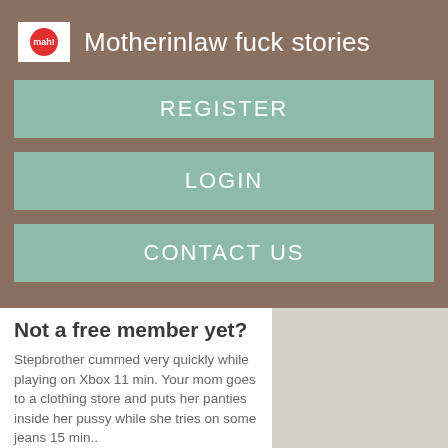Motherinlaw fuck stories
REGISTER
LOGIN
CONTACT US
Not a free member yet?
Stepbrother cummed very quickly while playing on Xbox 11 min. Your mom goes to a clothing store and puts her panties inside her pussy while she tries on some jeans 15 min..